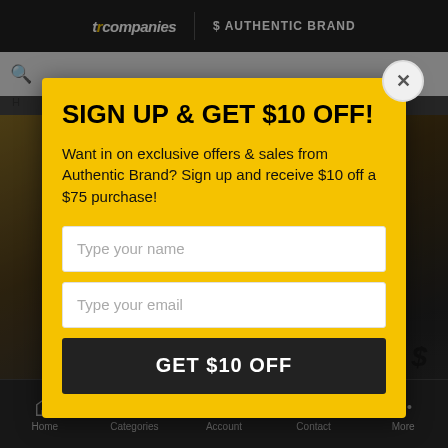[Figure (screenshot): Mobile app screenshot showing a popup modal over a website. Top bar shows 'tp companies' and 'Authentic Brand' logos. A yellow popup modal offers $10 off signup. Below the modal is a dark hero image area with 'OUR STORY' text. Bottom navigation bar shows Home, Categories, Account, Contact, More.]
SIGN UP & GET $10 OFF!
Want in on exclusive offers & sales from Authentic Brand? Sign up and receive $10 off a $75 purchase!
Type your name
Type your email
GET $10 OFF
Home  Categories  Account  Contact  More